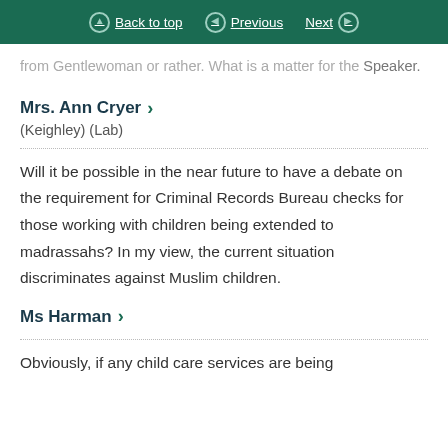Back to top | Previous | Next
from Gentlewoman or rather. What is a matter for the Speaker.
Mrs. Ann Cryer
(Keighley) (Lab)
Will it be possible in the near future to have a debate on the requirement for Criminal Records Bureau checks for those working with children being extended to madrassahs? In my view, the current situation discriminates against Muslim children.
Ms Harman
Obviously, if any child care services are being provided in any place, there is a requirement to...